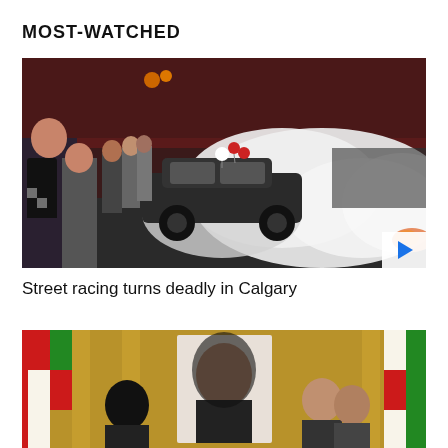MOST-WATCHED
[Figure (photo): Car doing a burnout on a street with crowd of spectators watching, large cloud of tire smoke, balloons on car, dusk/evening setting.]
Street racing turns deadly in Calgary
[Figure (photo): People at what appears to be an official or ceremonial setting with flags in background.]